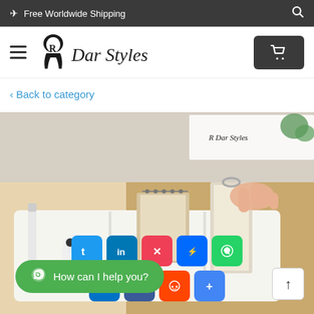✈ Free Worldwide Shipping
[Figure (logo): Dar Styles brand logo with stylized R and script text]
< Back to category
[Figure (photo): White plastic desktop organizer/storage box with compartments containing a marker pen, panda eraser, sticky notes, spiral notebooks, being held by a hand. Dar Styles logo watermark visible. Social media share icons overlay at bottom.]
How can I help you?